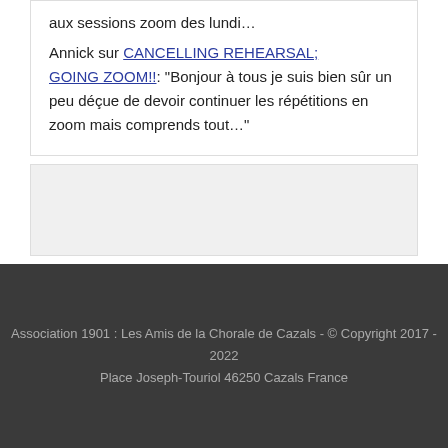aux sessions zoom des lundi…
Annick sur CANCELLING REHEARSAL; GOING ZOOM!!: "Bonjour à tous je suis bien sûr un peu déçue de devoir continuer les répétitions en zoom mais comprends tout…"
[Figure (other): Empty gray sidebar/widget box]
Association 1901 : Les Amis de la Chorale de Cazals - © Copyright 2017 - 2022
Place Joseph-Touriol 46250 Cazals France